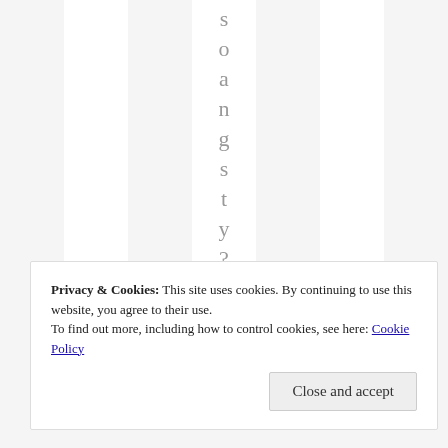s o a n g s t y ? ? ?
Privacy & Cookies: This site uses cookies. By continuing to use this website, you agree to their use.
To find out more, including how to control cookies, see here: Cookie Policy
Close and accept